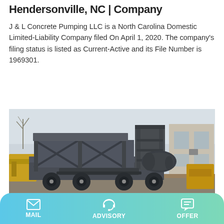Hendersonville, NC | Company
J & L Concrete Pumping LLC is a North Carolina Domestic Limited-Liability Company filed On April 1, 2020. The company's filing status is listed as Current-Active and its File Number is 1969301.
[Figure (other): Blue 'Learn More' button]
[Figure (photo): Photo of a concrete pumping machine/mobile concrete mixer on a trailer in an outdoor industrial yard, with a building visible in the background.]
MAIL   ADVISORY   OFFER